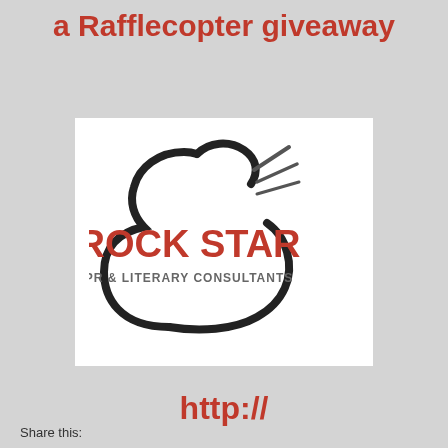a Rafflecopter giveaway
[Figure (logo): Rock Star PR & Literary Consultants logo — a guitar silhouette outline with speed lines at the top right, with 'ROCK STAR' in bold red text and 'PR & LITERARY CONSULTANTS' in gray text below]
http://
Share this: